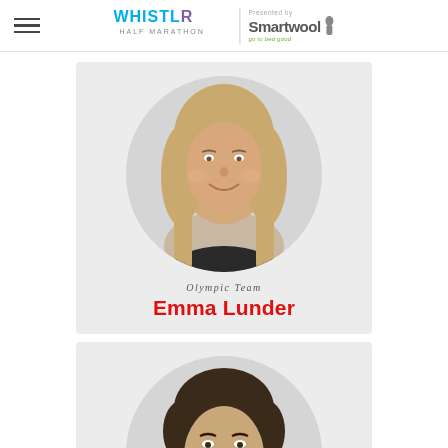WHISTLER HALF MARATHON presented by Smartwool
[Figure (photo): Portrait photo of Emma Lunder, a blonde woman smiling, displayed in a circular crop on a grey card background with text 'Olympic Team Emma Lunder']
[Figure (photo): Partial portrait photo of a dark-haired man smiling, displayed in a circular crop on a grey card background, partially cut off at bottom of page]